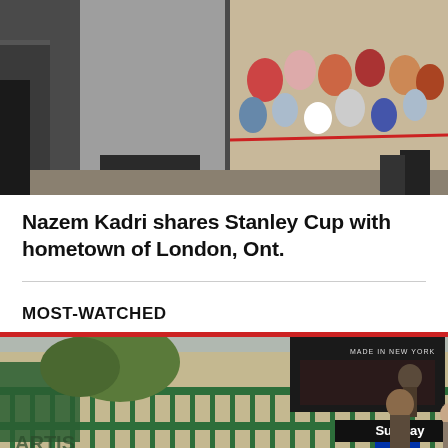[Figure (photo): Outdoor crowd scene, person in grey shirt seen from behind facing a large crowd of spectators, sunny day event]
Nazem Kadri shares Stanley Cup with hometown of London, Ont.
MOST-WATCHED
[Figure (photo): New York City subway station entrance with green railings, Subway sign, USA Today newspaper stand visible, city street in background]